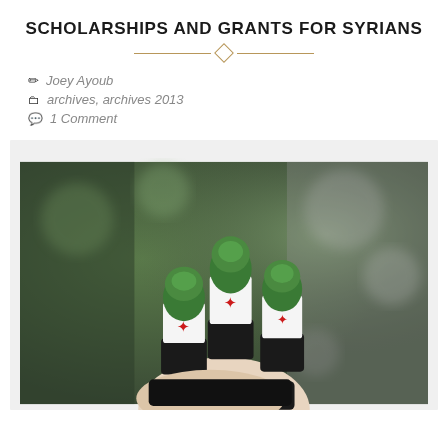SCHOLARSHIPS AND GRANTS FOR SYRIANS
Joey Ayoub
archives, archives 2013
1 Comment
[Figure (photo): A hand showing three fingers painted with the Syrian flag colors — green tips, white middle with red stars, and black bands at the base — raised in a peace/victory sign gesture against a blurred green background.]